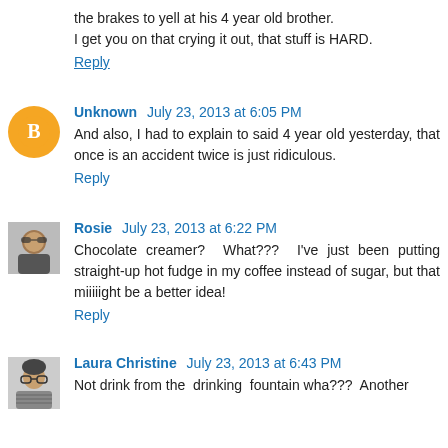the brakes to yell at his 4 year old brother.
I get you on that crying it out, that stuff is HARD.
Reply
Unknown July 23, 2013 at 6:05 PM
And also, I had to explain to said 4 year old yesterday, that once is an accident twice is just ridiculous.
Reply
Rosie July 23, 2013 at 6:22 PM
Chocolate creamer? What??? I've just been putting straight-up hot fudge in my coffee instead of sugar, but that miiiiight be a better idea!
Reply
Laura Christine July 23, 2013 at 6:43 PM
Not drink from the drinking fountain wha??? Another